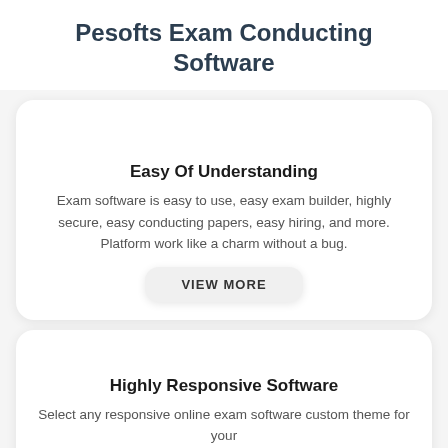Pesofts Exam Conducting Software
Easy Of Understanding
Exam software is easy to use, easy exam builder, highly secure, easy conducting papers, easy hiring, and more. Platform work like a charm without a bug.
VIEW MORE
Highly Responsive Software
Select any responsive online exam software custom theme for your pdf for the website and mobile application with simple registration...